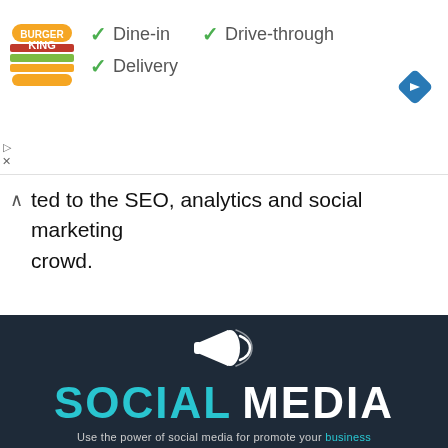[Figure (screenshot): Burger King ad banner with logo, dine-in, drive-through, delivery options and navigation icon]
ted to the SEO, analytics and social marketing crowd.
[Figure (illustration): Dark navy background with white megaphone icon, SOCIAL MEDIA text in cyan and white, tagline: Use the power of social media for promote your business]